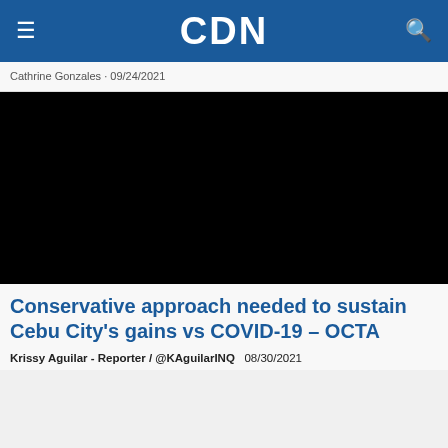CDN
Cathrine Gonzales · 09/24/2021
[Figure (photo): Black image placeholder for a news article photo]
Conservative approach needed to sustain Cebu City's gains vs COVID-19 – OCTA
Krissy Aguilar - Reporter / @KAguilarINQ   08/30/2021